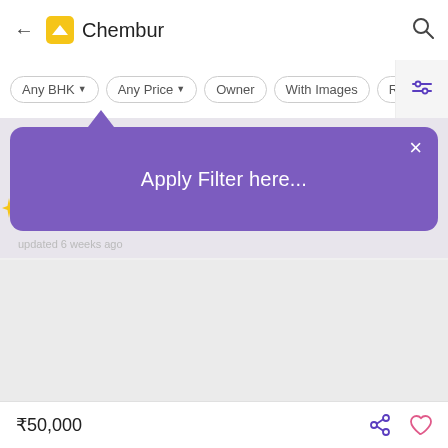Chembur
Any BHK  Any Price  Owner  With Images  Rec…
Apply Filter here...
updated 6 weeks ago
₹50,000